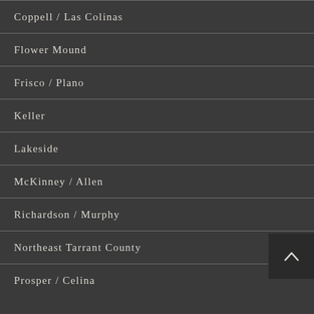Coppell / Las Colinas
Flower Mound
Frisco / Plano
Keller
Lakeside
McKinney / Allen
Richardson / Murphy
Northeast Tarrant County
Prosper / Celina